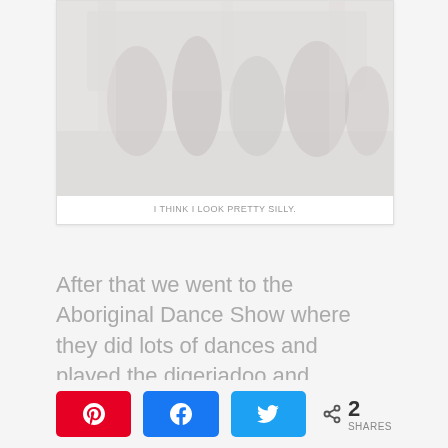[Figure (photo): Faded/washed-out photograph of people at what appears to be an outdoor event or dance performance]
I THINK I LOOK PRETTY SILLY.
After that we went to the Aboriginal Dance Show where they did lots of dances and played the digeriadoo and clapping instrument.  At the end we had a chance to go up and try the dance too.  It was really
2 SHARES